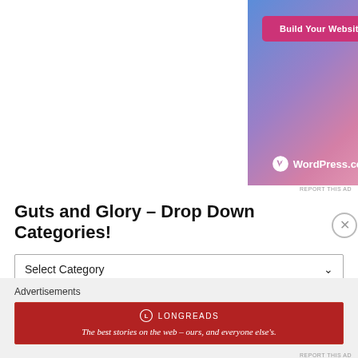[Figure (screenshot): WordPress.com advertisement banner with gradient blue-purple-pink background, showing 'Build Your Website' pink button and WordPress.com logo at bottom]
REPORT THIS AD
Guts and Glory – Drop Down Categories!
Select Category
Advertisements
[Figure (screenshot): Longreads advertisement banner in dark red with logo and tagline: The best stories on the web – ours, and everyone else's.]
REPORT THIS AD